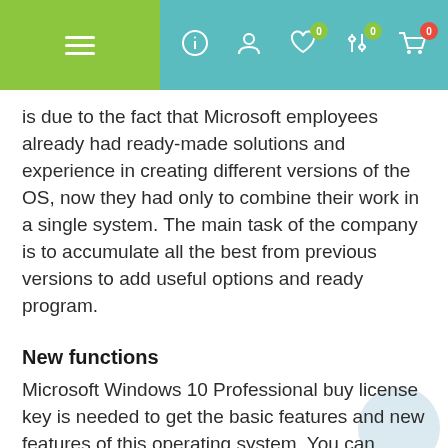[Figure (screenshot): Navigation bar with green hamburger menu section on left, and teal background with icons (info, user, heart with 0 badge, filter with 0 badge, cart with 0 badge) on the right]
is due to the fact that Microsoft employees already had ready-made solutions and experience in creating different versions of the OS, now they had only to combine their work in a single system. The main task of the company is to accumulate all the best from previous versions to add useful options and ready program.
New functions
Microsoft Windows 10 Professional buy license key is needed to get the basic features and new features of this operating system. You can install it on your smartphone, tablet, PC, laptop, and even on the Xbox One game console from Microsoft Studios. It has got an advanced interface and a lot